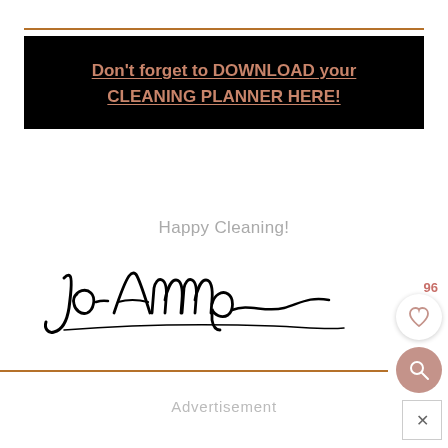[Figure (other): Black banner with rose-gold underlined bold text: Don't forget to DOWNLOAD your CLEANING PLANNER HERE!]
Happy Cleaning!
[Figure (illustration): Cursive/script signature reading 'Jo-Anna' with a decorative swash/underline]
Advertisement